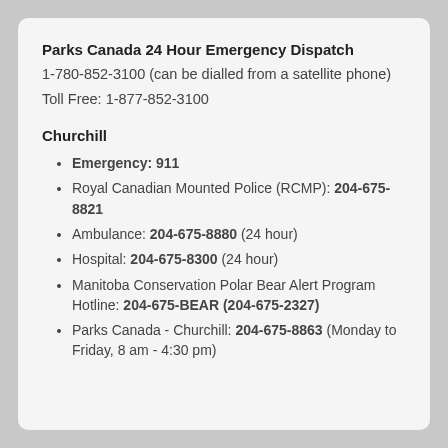Parks Canada 24 Hour Emergency Dispatch
1-780-852-3100 (can be dialled from a satellite phone)
Toll Free: 1-877-852-3100
Churchill
Emergency: 911
Royal Canadian Mounted Police (RCMP): 204-675-8821
Ambulance: 204-675-8880 (24 hour)
Hospital: 204-675-8300 (24 hour)
Manitoba Conservation Polar Bear Alert Program Hotline: 204-675-BEAR (204-675-2327)
Parks Canada - Churchill: 204-675-8863 (Monday to Friday, 8 am - 4:30 pm)